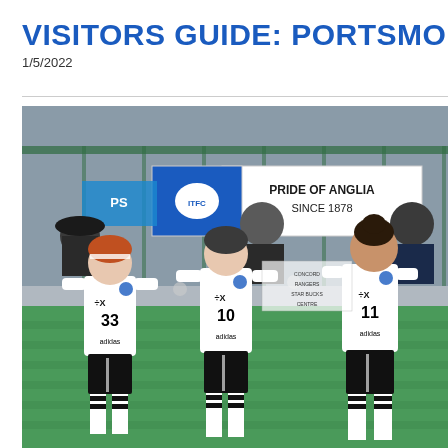VISITORS GUIDE: PORTSMOUTH (
1/5/2022
[Figure (photo): Three young female footballers in white Ipswich Town kits with numbers 33, 10, and 11, walking on a green artificial pitch. Behind them is a banner reading 'Pride of Anglia Since 1878' and spectators in the background. Rainy conditions.]